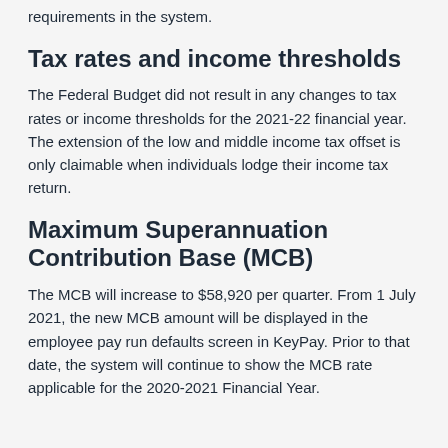requirements in the system.
Tax rates and income thresholds
The Federal Budget did not result in any changes to tax rates or income thresholds for the 2021-22 financial year. The extension of the low and middle income tax offset is only claimable when individuals lodge their income tax return.
Maximum Superannuation Contribution Base (MCB)
The MCB will increase to $58,920 per quarter. From 1 July 2021, the new MCB amount will be displayed in the employee pay run defaults screen in KeyPay. Prior to that date, the system will continue to show the MCB rate applicable for the 2020-2021 Financial Year.